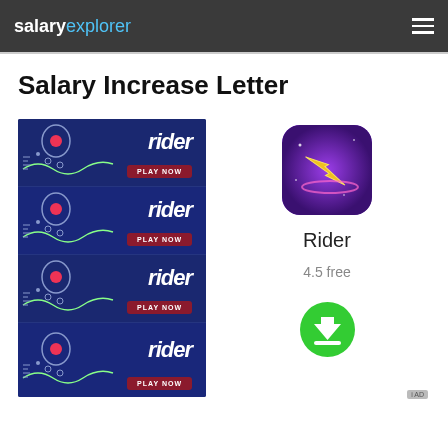salaryexplorer
Salary Increase Letter
[Figure (illustration): Advertisement banner showing the Rider mobile game app. Left side: four stacked animated banner panels showing the Rider game logo with 'PLAY NOW' button on dark blue background with a figure and red dot. Right side: app icon (gold lightning bolt on purple background), app name 'Rider', rating '4.5 free', and a green download button.]